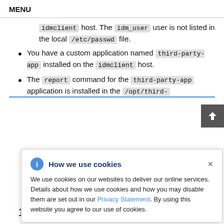MENU
idmclient host. The idm_user user is not listed in the local /etc/passwd file.
You have a custom application named third-party-app installed on the idmclient host.
The report command for the third-party-app application is installed in the /opt/third-
How we use cookies — We use cookies on our websites to deliver our online services. Details about how we use cookies and how you may disable them are set out in our Privacy Statement. By using this website you agree to our use of cookies.
...unt named ...ls for the